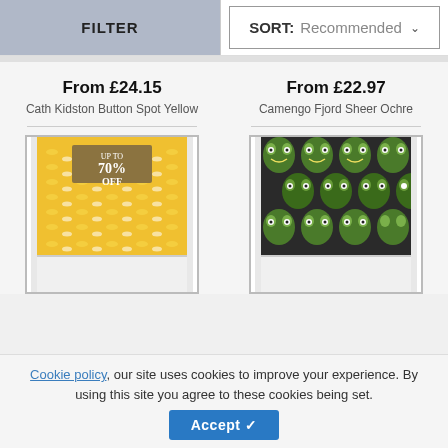FILTER | SORT: Recommended
From £24.15
Cath Kidston Button Spot Yellow
From £22.97
Camengo Fjord Sheer Ochre
[Figure (photo): Yellow roman blind with white dot/spot pattern and gold sale badge showing UP TO 70% OFF]
[Figure (photo): Roman blind with green and black bird/owl pattern]
Cookie policy, our site uses cookies to improve your experience. By using this site you agree to these cookies being set.
Accept ✓